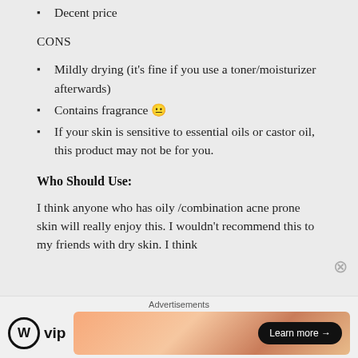Decent price
CONS
Mildly drying (it's fine if you use a toner/moisturizer afterwards)
Contains fragrance 😐
If your skin is sensitive to essential oils or castor oil, this product may not be for you.
Who Should Use:
I think anyone who has oily /combination acne prone skin will really enjoy this. I wouldn't recommend this to my friends with dry skin. I think
[Figure (infographic): Advertisement bar at the bottom: 'Advertisements' label, WordPress VIP logo on the left, and a gradient banner with 'Learn more →' button on the right. A close (X) button overlays the top-right of the ad area.]